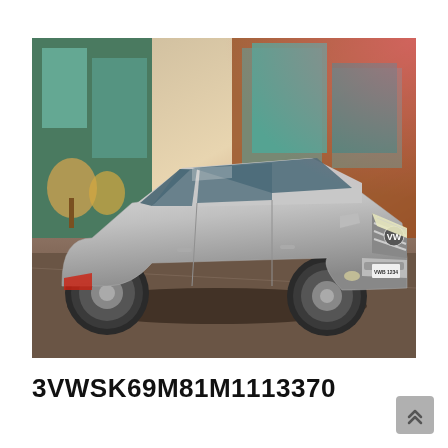[Figure (photo): Silver Volkswagen Jetta sedan parked in front of a modern building with large glass windows and brick walls. The car is photographed from a front three-quarter angle showing its left side. License plate visible reading VWB 1234.]
3VWSK69M81M1113370